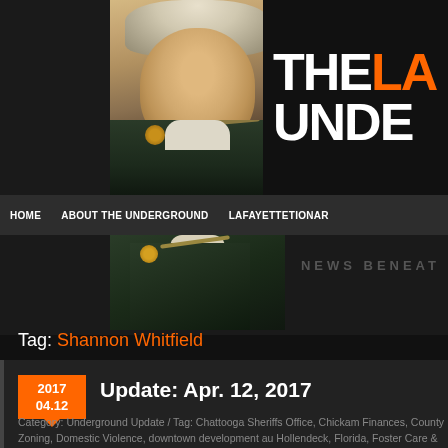[Figure (photo): Portrait painting of a historical figure in military uniform with white powdered wig, appearing twice on the page - once as full header image and once cropped showing torso]
[Figure (logo): Website logo reading 'THE LA[FAYETTE] UNDE[RGROUND]' in bold white and orange text on black background]
HOME   ABOUT THE UNDERGROUND   LAFAYETTETIONAR
NEWS BENEAT
Tag: Shannon Whitfield
Update: Apr. 12, 2017
Category: Underground Update / Tag: Chattooga Sheriffs Office, Chickam Finances, County Zoning, Domestic Violence, downtown development au Hollendeck, Florida, Foster Care & Adoption, Gang Activity, GBI, Georgia Valley Rd, Jadon Chase Snyder, Jennifer DeMott, Movies in the Park, Mu Animals, planning commission, Robert Martin Brooks, Rock City, Shanno